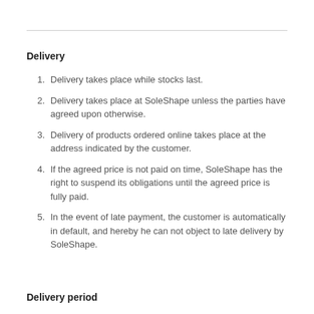Delivery
Delivery takes place while stocks last.
Delivery takes place at SoleShape unless the parties have agreed upon otherwise.
Delivery of products ordered online takes place at the address indicated by the customer.
If the agreed price is not paid on time, SoleShape has the right to suspend its obligations until the agreed price is fully paid.
In the event of late payment, the customer is automatically in default, and hereby he can not object to late delivery by SoleShape.
Delivery period